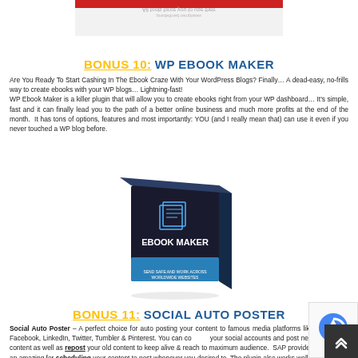[Figure (photo): Partial view of a product box at the top of the page, showing the bottom edge of a red and white box with reflected text]
BONUS 10: WP EBOOK MAKER
Are You Ready To Start Cashing In The Ebook Craze With Your WordPress Blogs? Finally… A dead-easy, no-frills way to create ebooks with your WP blogs… Lightning-fast!
WP Ebook Maker is a killer plugin that will allow you to create ebooks right from your WP dashboard… It's simple, fast and it can finally lead you to the path of a better online business and much more profits at the end of the month. It has tons of options, features and most importantly: YOU (and I really mean that) can use it even if you never touched a WP blog before.
[Figure (photo): Product box for Ebook Maker — black and blue 3D software box with the text EBOOK MAKER in center on dark background]
BONUS 11: SOCIAL AUTO POSTER
Social Auto Poster – A perfect choice for auto posting your content to famous media platforms like Facebook, LinkedIn, Twitter, Tumbler & Pinterest. You can connect your social accounts and post new content as well as repost your old content to keep alive & reach to maximum audience. SAP provides an amazing for scheduling your content to post whenever you desired to. The plugin also works well